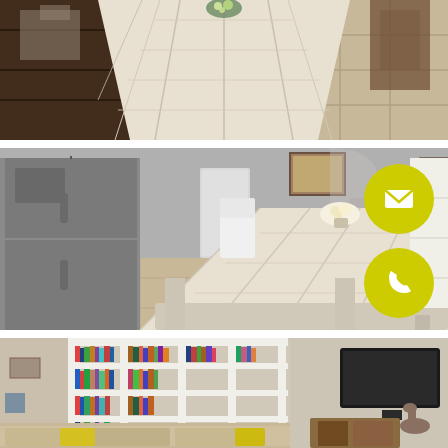[Figure (photo): Top-down perspective of a long whitewashed farmhouse dining table with wooden plank floors on either side, warm interior room setting]
[Figure (photo): Wide angle interior shot of open-plan kitchen and living area featuring a large white distressed farmhouse dining table with benches, stainless steel refrigerator on the left, framed art on walls, fireplace in background, with two yellow circular contact icons (email envelope and phone) overlaid on the right side]
[Figure (photo): Living room with floor-to-ceiling white bookshelves filled with books on the left, flat-screen TV mounted on wall, comfortable seating including a beige sofa with yellow pillows, wooden TV console]